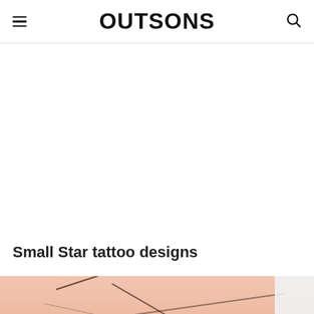OUTSONS
[Figure (other): Advertisement / blank white space area]
Small Star tattoo designs
[Figure (photo): Close-up photo of a person's skin (wrist/forearm area) showing minimalist line tattoo designs — thin black lines forming geometric shapes on pale skin. Right edge shows a light grey/blue panel overlay.]